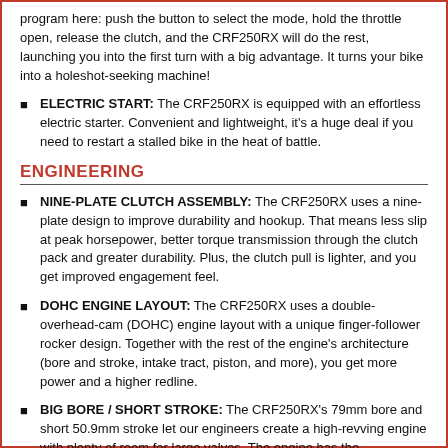program here: push the button to select the mode, hold the throttle open, release the clutch, and the CRF250RX will do the rest, launching you into the first turn with a big advantage. It turns your bike into a holeshot-seeking machine!
ELECTRIC START: The CRF250RX is equipped with an effortless electric starter. Convenient and lightweight, it's a huge deal if you need to restart a stalled bike in the heat of battle.
ENGINEERING
NINE-PLATE CLUTCH ASSEMBLY: The CRF250RX uses a nine-plate design to improve durability and hookup. That means less slip at peak horsepower, better torque transmission through the clutch pack and greater durability. Plus, the clutch pull is lighter, and you get improved engagement feel.
DOHC ENGINE LAYOUT: The CRF250RX uses a double-overhead-cam (DOHC) engine layout with a unique finger-follower rocker design. Together with the rest of the engine's architecture (bore and stroke, intake tract, piston, and more), you get more power and a higher redline.
BIG BORE / SHORT STROKE: The CRF250RX's 79mm bore and short 50.9mm stroke let our engineers create a high-revving engine with plenty of room for large valves. The engine has the